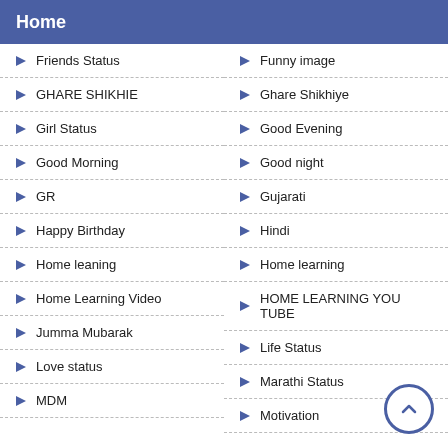Home
Friends Status
Funny image
GHARE SHIKHIE
Ghare Shikhiye
Girl Status
Good Evening
Good Morning
Good night
GR
Gujarati
Happy Birthday
Hindi
Home leaning
Home learning
Home Learning Video
HOME LEARNING YOU TUBE
Jumma Mubarak
Life Status
Love status
Marathi Status
MDM
Motivation